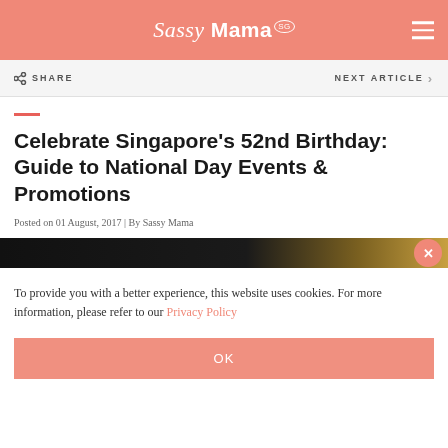Sassy Mama
SHARE   NEXT ARTICLE
Celebrate Singapore's 52nd Birthday: Guide to National Day Events & Promotions
Posted on 01 August, 2017 | By Sassy Mama
[Figure (photo): Dark bokeh background image with lights, partially visible]
To provide you with a better experience, this website uses cookies. For more information, please refer to our Privacy Policy
OK